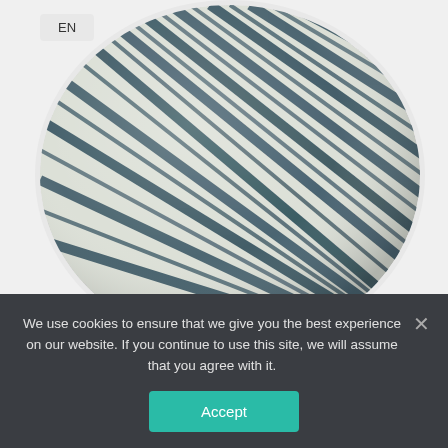[Figure (photo): A striped blue and white fabric scarf or wrap bunched/folded into a round cluster shape, photographed on a white background. An 'EN' language selector button is visible in the upper left area.]
USD
+
We use cookies to ensure that we give you the best experience on our website. If you continue to use this site, we will assume that you agree with it.
Accept